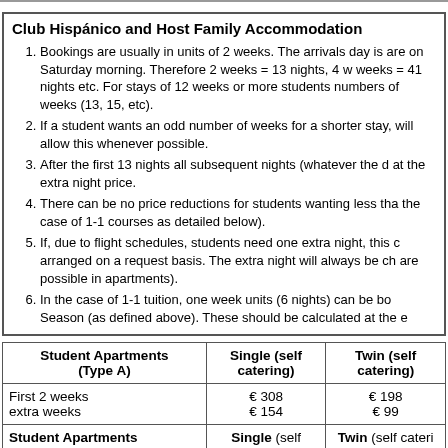Club Hispánico and Host Family Accommodation
Bookings are usually in units of 2 weeks. The arrivals day is are on Saturday morning. Therefore 2 weeks = 13 nights, 4 w weeks = 41 nights etc. For stays of 12 weeks or more students numbers of weeks (13, 15, etc).
If a student wants an odd number of weeks for a shorter stay, will allow this whenever possible.
After the first 13 nights all subsequent nights (whatever the d at the extra night price.
There can be no price reductions for students wanting less tha the case of 1-1 courses as detailed below).
If, due to flight schedules, students need one extra night, this arranged on a request basis. The extra night will always be ch are possible in apartments).
In the case of 1-1 tuition, one week units (6 nights) can be bo Season (as defined above). These should be calculated at the e
| Student Apartments (Type A) | Single (self catering) | Twin (self catering) |
| --- | --- | --- |
| First 2 weeks
extra weeks | € 308
€ 154 | € 198
€ 99 |
| Student Apartments (Type B) | Single (self catering) | Twin (self cateri |